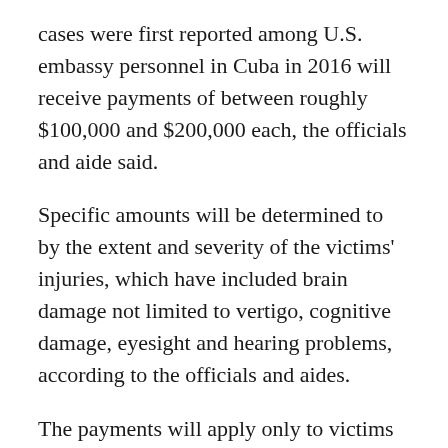cases were first reported among U.S. embassy personnel in Cuba in 2016 will receive payments of between roughly $100,000 and $200,000 each, the officials and aide said.
Specific amounts will be determined to by the extent and severity of the victims' injuries, which have included brain damage not limited to vertigo, cognitive damage, eyesight and hearing problems, according to the officials and aides.
The payments will apply only to victims employed by the State Department and their dependents. Other victims will have any compensation handled by the federal agency that employed them. About 20% of the total number of victims are or were employed by the State Department. Almost all the others were employed